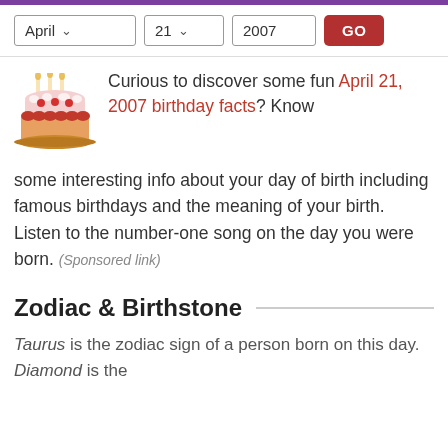[Figure (other): Purple top bar banner]
April  21  2007  GO
[Figure (illustration): Birthday cake with candles illustration]
Curious to discover some fun April 21, 2007 birthday facts? Know some interesting info about your day of birth including famous birthdays and the meaning of your birth. Listen to the number-one song on the day you were born. (Sponsored link)
Zodiac & Birthstone
Taurus is the zodiac sign of a person born on this day. Diamond is the